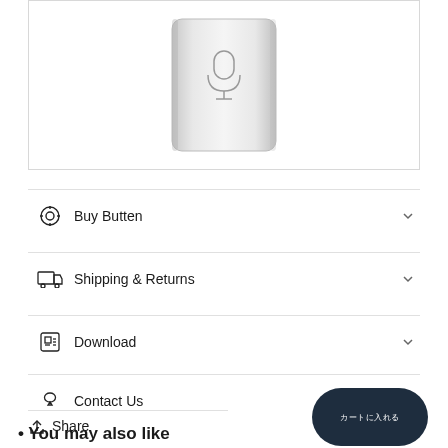[Figure (photo): Product image of a silver rectangular device with a microphone icon on its face, shown against white background inside a bordered frame.]
Buy Butten
Shipping & Returns
Download
Contact Us
Share
[Figure (illustration): Dark navy oval/pill shaped button with small text characters (Japanese/Chinese) in white.]
• You may also like